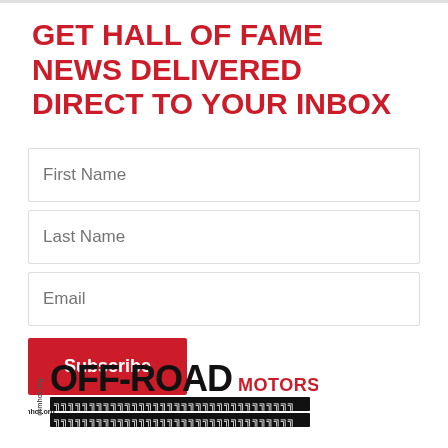GET HALL OF FAME NEWS DELIVERED DIRECT TO YOUR INBOX
First Name
Last Name
Email
Subscribe
[Figure (logo): Off-Road Motorsports Hall of Fame logo with tire tread pattern, text reads 'ormhof.org OFF-ROAD MOTORSPORTS EST. 1978']